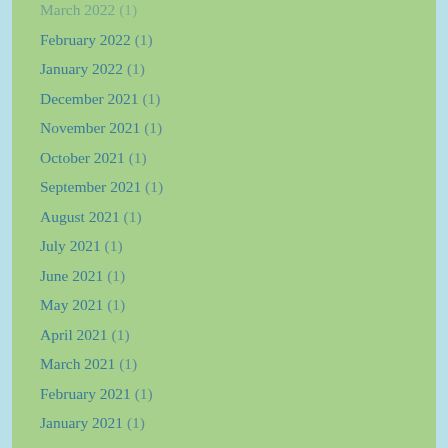March 2022 (1)
February 2022 (1)
January 2022 (1)
December 2021 (1)
November 2021 (1)
October 2021 (1)
September 2021 (1)
August 2021 (1)
July 2021 (1)
June 2021 (1)
May 2021 (1)
April 2021 (1)
March 2021 (1)
February 2021 (1)
January 2021 (1)